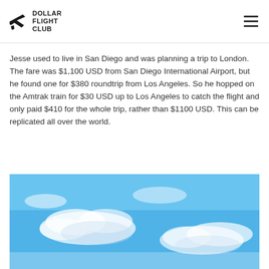Dollar Flight Club
Jesse used to live in San Diego and was planning a trip to London. The fare was $1,100 USD from San Diego International Airport, but he found one for $380 roundtrip from Los Angeles. So he hopped on the Amtrak train for $30 USD up to Los Angeles to catch the flight and only paid $410 for the whole trip, rather than $1100 USD. This can be replicated all over the world.
[Figure (photo): Blue sky with white clouds, photo background image]